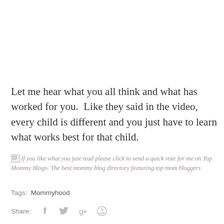Let me hear what you all think and what has worked for you.  Like they said in the video, every child is different and you just have to learn what works best for that child.
If you like what you just read please click to send a quick vote for me on Top Mommy Blogs- The best mommy blog directory featuring top mom bloggers
Tags:  Mommyhood
Share:  f  y  g+  @